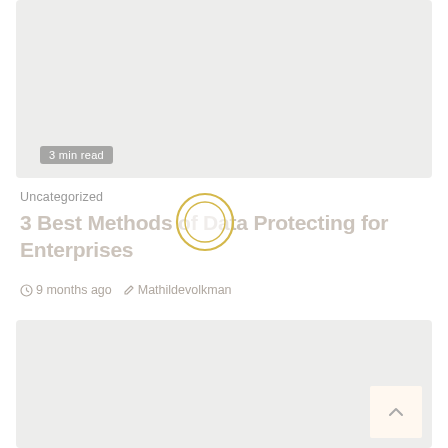[Figure (photo): Top image block placeholder — light grey rectangle with '3 min read' badge in bottom-left corner]
3 min read
Uncategorized
3 Best Methods of Data Protecting for Enterprises
9 months ago  Mathildevolkman
[Figure (other): Search / magnifying glass circular icon overlay in gold/yellow outline style]
[Figure (photo): Bottom image block placeholder — light grey rectangle]